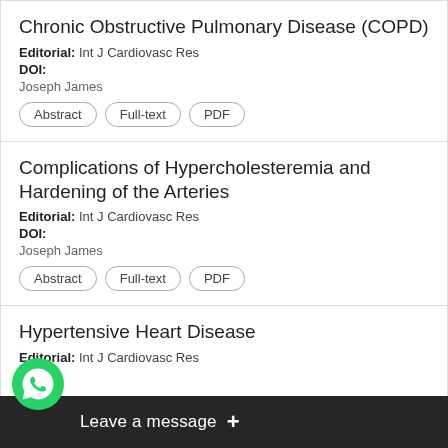Chronic Obstructive Pulmonary Disease (COPD)
Editorial: Int J Cardiovasc Res
DOI:
Joseph James
Complications of Hypercholesteremia and Hardening of the Arteries
Editorial: Int J Cardiovasc Res
DOI:
Joseph James
Hypertensive Heart Disease
Editorial: Int J Cardiovasc Res